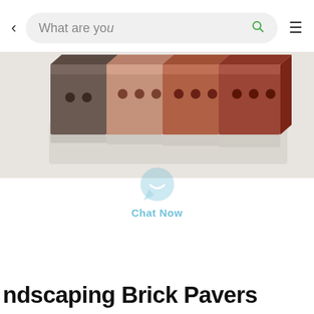< What are you [search bar] ≡
[Figure (photo): Four clay brick pavers of different colors (dark brown, light tan, terracotta, and red/brown) arranged in a row showing their faces with holes, photographed on a white background. A semi-transparent 'Chat Now' chat widget watermark overlays the center-bottom of the image.]
ndscaping Brick Pavers